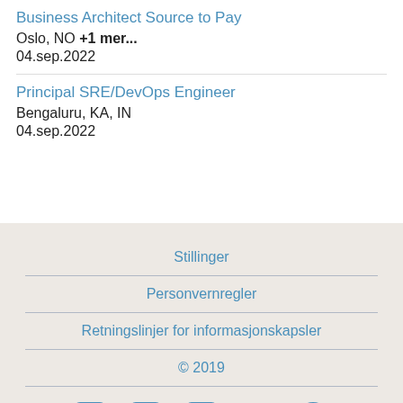Business Architect Source to Pay
Oslo, NO +1 mer...
04.sep.2022
Principal SRE/DevOps Engineer
Bengaluru, KA, IN
04.sep.2022
Stillinger
Personvernregler
Retningslinjer for informasjonskapsler
© 2019
[Figure (illustration): Social media icons: LinkedIn, Facebook, Twitter/X, YouTube, and another icon]